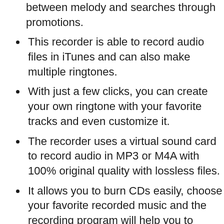between melody and searches through promotions.
This recorder is able to record audio files in iTunes and can also make multiple ringtones.
With just a few clicks, you can create your own ringtone with your favorite tracks and even customize it.
The recorder uses a virtual sound card to record audio in MP3 or M4A with 100% original quality with lossless files.
It allows you to burn CDs easily, choose your favorite recorded music and the recording program will help you to personal audio CDs.
The innovative audio recorder allows you to record audio from more than